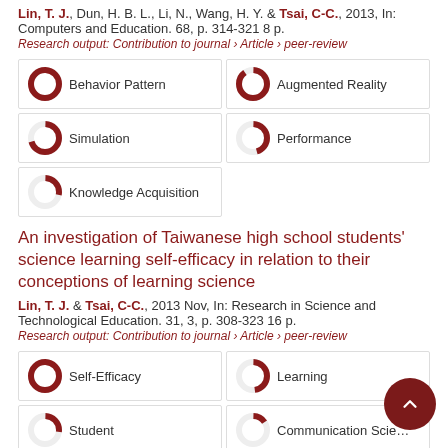Lin, T. J., Dun, H. B. L., Li, N., Wang, H. Y. & Tsai, C-C., 2013, In: Computers and Education. 68, p. 314-321 8 p.
Research output: Contribution to journal › Article › peer-review
[Figure (infographic): Keywords with donut/circle indicators: Behavior Pattern (100%), Augmented Reality (90%), Simulation (70%), Performance (45%), Knowledge Acquisition (28%)]
An investigation of Taiwanese high school students' science learning self-efficacy in relation to their conceptions of learning science
Lin, T. J. & Tsai, C-C., 2013 Nov, In: Research in Science and Technological Education. 31, 3, p. 308-323 16 p.
Research output: Contribution to journal › Article › peer-review
[Figure (infographic): Keywords with donut/circle indicators: Self-Efficacy (100%), Learning (48%), Student (27%), Communication Science (15%), Path Analysis (9%)]